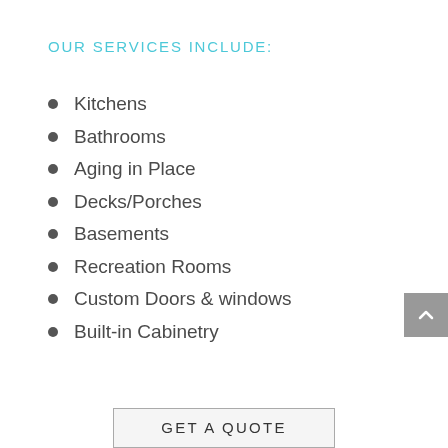OUR SERVICES INCLUDE:
Kitchens
Bathrooms
Aging in Place
Decks/Porches
Basements
Recreation Rooms
Custom Doors & windows
Built-in Cabinetry
GET A QUOTE